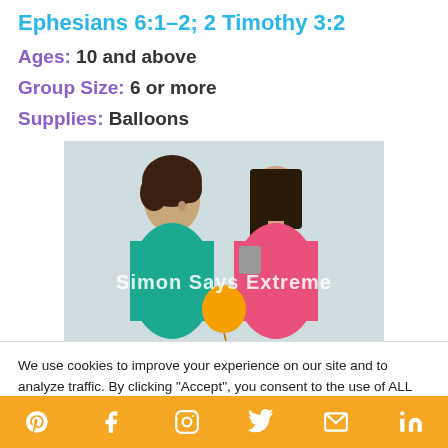Ephesians 6:1-2; 2 Timothy 3:2
Ages: 10 and above
Group Size: 6 or more
Supplies: Balloons
[Figure (photo): Two teenage girls standing back to back, one in teal shirt and one in pink shirt, with an orange balloon between them. Overlay text reads 'Simon Says Extreme']
We use cookies to improve your experience on our site and to analyze traffic. By clicking “Accept”, you consent to the use of ALL the cookies.
Cookie Settings | Accept | Social media icons: Pinterest, Facebook, Instagram, Twitter, Email, LinkedIn